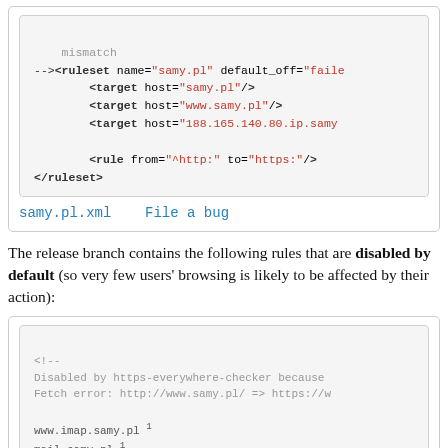[Figure (screenshot): Code block showing XML ruleset snippet with mismatch comment, ruleset element, target elements, and rule element, followed by links 'samy.pl.xml' and 'File a bug']
The release branch contains the following rules that are disabled by default (so very few users' browsing is likely to be affected by their action):
[Figure (screenshot): Code block showing disabled XML rule with comment about https-everywhere-checker, Fetch error, and list of hostnames: www.imap.samy.pl, mail.samy.pl, www.mx1.samy.pl, www.pmsdns.samy.pl, www.pop.samy.pl with superscript 1]